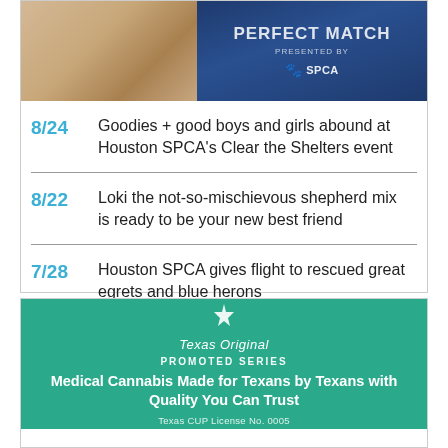[Figure (photo): Top banner with cat/dog photo on left and Houston SPCA blue banner with 'Perfect Match' text and SPCA logo on right]
8/24  Goodies + good boys and girls abound at Houston SPCA’s Clear the Shelters event
8/22  Loki the not-so-mischievous shepherd mix is ready to be your new best friend
7/28  Houston SPCA gives flight to rescued great egrets and blue herons
[Figure (infographic): Texas Original promotional ad with teal background, logo, 'PROMOTED SERIES' label, headline 'Medical Cannabis Made for Texans by Texans with Quality You Can Trust', and 'Texas CUP License No. 0005']